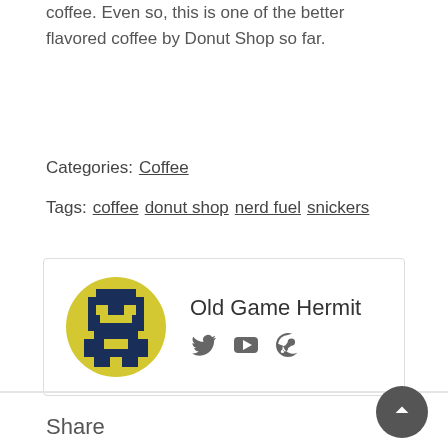coffee. Even so, this is one of the better flavored coffee by Donut Shop so far.
Categories: Coffee
Tags: coffee donut shop nerd fuel snickers
[Figure (illustration): Author box with pixel-art avatar of Old Game Hermit (dark blue and yellow pixel character), author name 'Old Game Hermit', and social media icons for Twitter, YouTube, and Steam]
Share